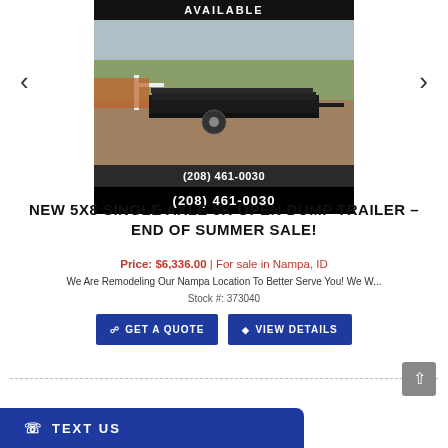[Figure (photo): Black dump trailer parked outdoors with white fence and fields in background. AVAILABLE banner on top. Phone number (208) 461-0030 shown in two bars below the image.]
NEW 5X8 SINGLE AXLE 5K OPEN DUMP TRAILER - END OF SUMMER SALE!
Price: $6,336.00 | For sale in Nampa, ID
We Are Remodeling Our Nampa Location To Better Serve You! We W...
Stock #: 373040
GET A QUOTE
VIEW DETAILS
TEXT US